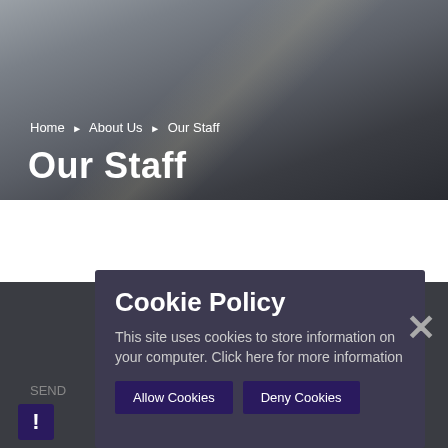[Figure (photo): Dark gradient header background with subtle diagonal light streaks, transitioning from grey-blue at top to dark charcoal at bottom]
Home ▶ About Us ▶ Our Staff
Our Staff
Acting Headteacher
Deputy ...
SEND
Cookie Policy
This site uses cookies to store information on your computer. Click here for more information
Allow Cookies
Deny Cookies